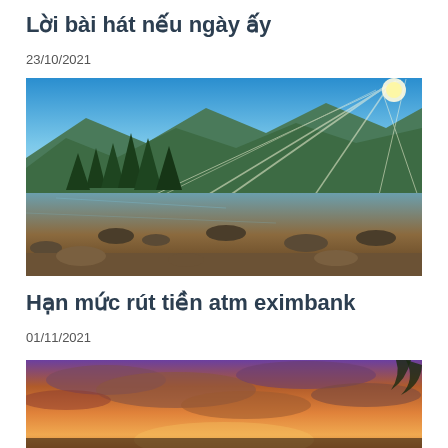Lời bài hát nếu ngày ấy
23/10/2021
[Figure (photo): Scenic mountain lake with pine trees, reflecting mountains and bright sun rays in the sky]
Hạn mức rút tiền atm eximbank
01/11/2021
[Figure (photo): Dramatic sunset sky with orange and red clouds over a landscape with tree silhouette]